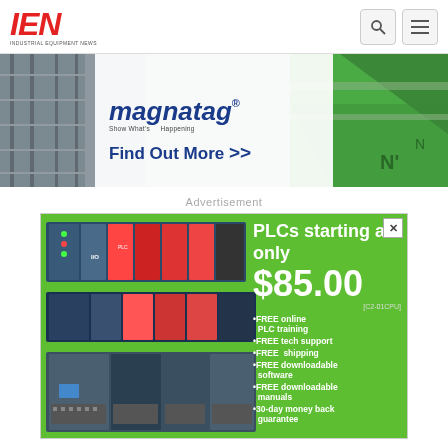[Figure (logo): IEN Industrial Equipment News logo - red italic bold letters IEN above small text INDUSTRIAL EQUIPMENT NEWS]
[Figure (screenshot): Navigation bar with search icon and hamburger menu icon]
[Figure (photo): Magnatag advertisement banner showing warehouse/industrial background with blue Magnatag logo and 'Find Out More >>' text]
Advertisement
[Figure (photo): PLC advertisement on green background: 'PLCs starting at only $85.00 [C2-01CPU]' with bullet points: FREE online PLC training, FREE tech support, FREE shipping, FREE downloadable software, FREE downloadable manuals, 30-day money back guarantee. Shows image of various PLC hardware units.]